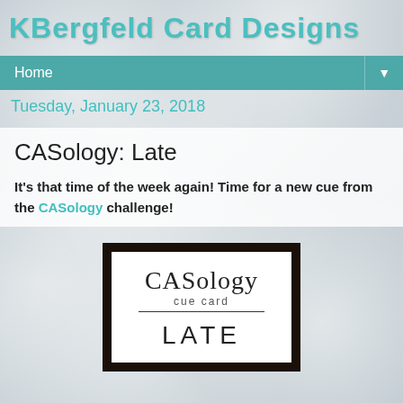KBergfeld Card Designs
Home
Tuesday, January 23, 2018
CASology: Late
It's that time of the week again! Time for a new cue from the CASology challenge!
[Figure (illustration): CASology cue card with thick black border. White interior showing 'CASology' in large text, 'cue card' in smaller text below with a dividing line, and the word 'LATE' in large spaced letters at the bottom.]